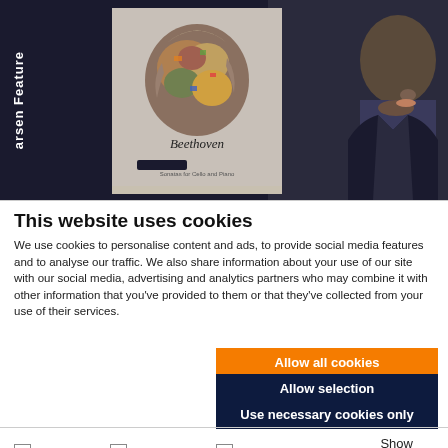[Figure (screenshot): Website header image showing a music album cover for 'Beethoven Sonatas for Cello and Piano' with an abstract head sculpture on a dark background, alongside a partial photo of a person's face, and vertical text reading 'arsen Featured' on the left sidebar.]
This website uses cookies
We use cookies to personalise content and ads, to provide social media features and to analyse our traffic. We also share information about your use of our site with our social media, advertising and analytics partners who may combine it with other information that you've provided to them or that they've collected from your use of their services.
Allow all cookies
Allow selection
Use necessary cookies only
Necessary  Preferences  Statistics  Marketing  Show details